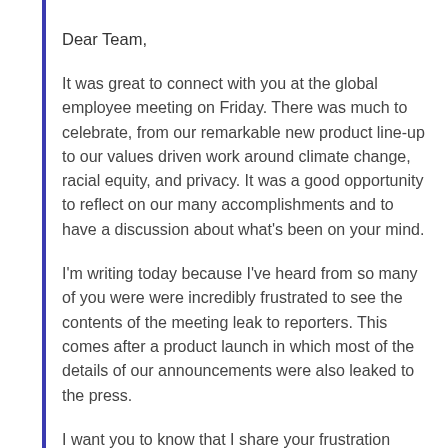Dear Team,
It was great to connect with you at the global employee meeting on Friday. There was much to celebrate, from our remarkable new product line-up to our values driven work around climate change, racial equity, and privacy. It was a good opportunity to reflect on our many accomplishments and to have a discussion about what’s been on your mind.
I’m writing today because I’ve heard from so many of you were were incredibly frustrated to see the contents of the meeting leak to reporters. This comes after a product launch in which most of the details of our announcements were also leaked to the press.
I want you to know that I share your frustration